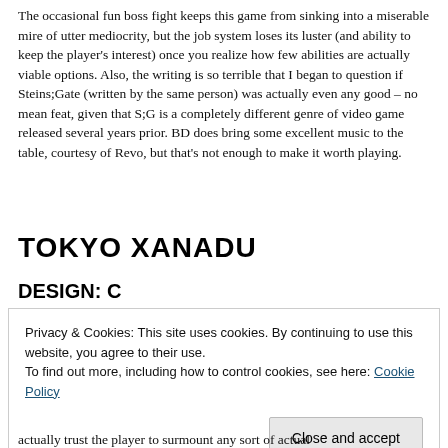The occasional fun boss fight keeps this game from sinking into a miserable mire of utter mediocrity, but the job system loses its luster (and ability to keep the player's interest) once you realize how few abilities are actually viable options. Also, the writing is so terrible that I began to question if Steins;Gate (written by the same person) was actually even any good – no mean feat, given that S;G is a completely different genre of video game released several years prior. BD does bring some excellent music to the table, courtesy of Revo, but that's not enough to make it worth playing.
TOKYO XANADU
DESIGN: C
Privacy & Cookies: This site uses cookies. By continuing to use this website, you agree to their use.
To find out more, including how to control cookies, see here: Cookie Policy
actually trust the player to surmount any sort of actual